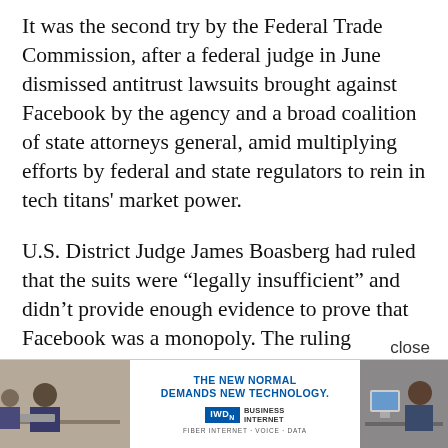It was the second try by the Federal Trade Commission, after a federal judge in June dismissed antitrust lawsuits brought against Facebook by the agency and a broad coalition of state attorneys general, amid multiplying efforts by federal and state regulators to rein in tech titans' market power.
U.S. District Judge James Boasberg had ruled that the suits were “legally insufficient” and didn’t provide enough evidence to prove that Facebook was a monopoly. The ruling dismissed the FTC’s complaint but not the case, giving the agency a chance to file a revised complaint.
Boasberg had said the FTC fell short of demonstrating that Facebook holds monopoly market power, failing to provide an esti... or the
[Figure (other): Advertisement banner at bottom of page showing 'THE NEW NORMAL DEMANDS NEW TECHNOLOGY.' with a business internet provider logo, fiber internet voice data tagline, and photos of office workers on left and right sides. A 'close' button appears above the banner.]